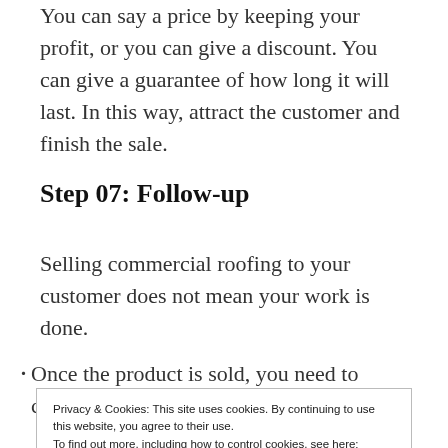You can say a price by keeping your profit, or you can give a discount. You can give a guarantee of how long it will last. In this way, attract the customer and finish the sale.
Step 07: Follow-up
Selling commercial roofing to your customer does not mean your work is done.
Once the product is sold, you need to create a good
Privacy & Cookies: This site uses cookies. By continuing to use this website, you agree to their use.
To find out more, including how to control cookies, see here: Cookie Policy
Older customers should have a better relationship